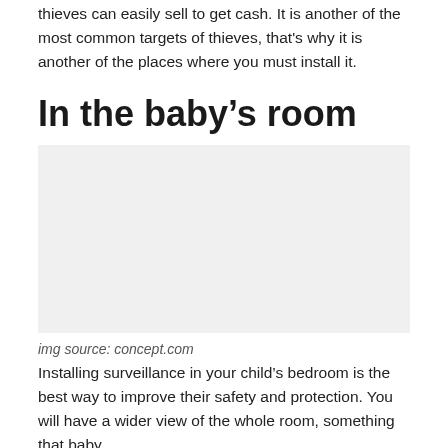thieves can easily sell to get cash. It is another of the most common targets of thieves, that's why it is another of the places where you must install it.
In the baby's room
[Figure (photo): Image placeholder for baby's room surveillance photo]
img source: concept.com
Installing surveillance in your child's bedroom is the best way to improve their safety and protection. You will have a wider view of the whole room, something that baby